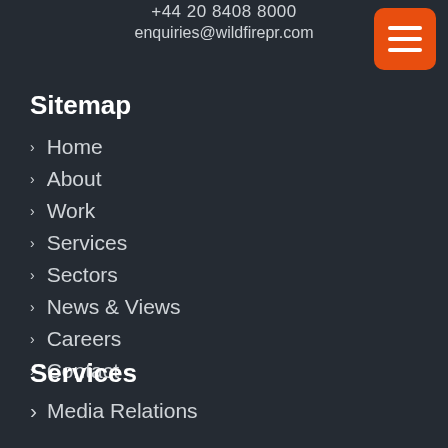+44 20 8408 8000
enquiries@wildfirepr.com
[Figure (other): Orange hamburger menu button with three white horizontal lines]
Sitemap
Home
About
Work
Services
Sectors
News & Views
Careers
Contact
Services
Media Relations